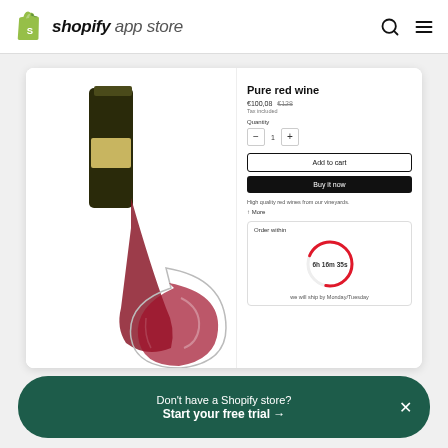shopify app store
[Figure (screenshot): Shopify app store product page screenshot showing a wine bottle pouring red wine into a glass (left) and product details panel on the right with title 'Pure red wine', price €100,08 €128, tax note, quantity selector, Add to cart and Buy it now buttons, quality note, order countdown timer showing 6h 16m 35s, and shipping note 'we will ship by Monday/Tuesday']
1 of 6
Don't have a Shopify store?
Start your free trial →